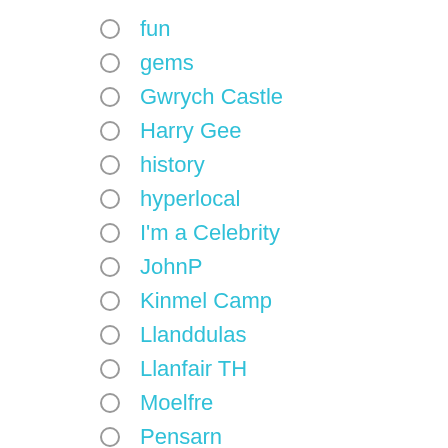fun
gems
Gwrych Castle
Harry Gee
history
hyperlocal
I'm a Celebrity
JohnP
Kinmel Camp
Llanddulas
Llanfair TH
Moelfre
Pensarn